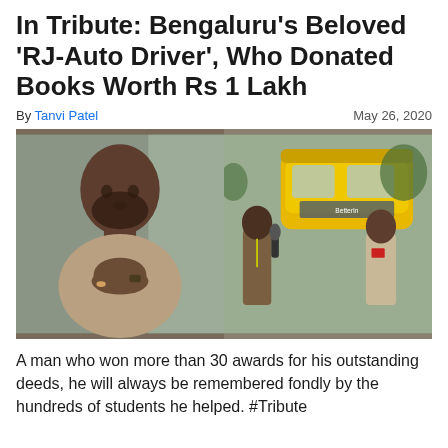In Tribute: Bengaluru's Beloved 'RJ-Auto Driver', Who Donated Books Worth Rs 1 Lakh
By Tanvi Patel    May 26, 2020
[Figure (photo): Two photos side by side: left photo shows a man with hands folded in a namaste gesture sitting inside an auto; right photo shows two men standing near a yellow auto rickshaw, one holding a microphone interviewing the other.]
A man who won more than 30 awards for his outstanding deeds, he will always be remembered fondly by the hundreds of students he helped. #Tribute